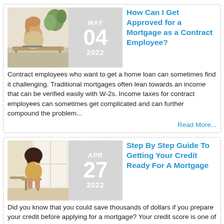[Figure (photo): Woman sitting at a desk working, with plants in the background]
How Can I Get Approved for a Mortgage as a Contract Employee?
Contract employees who want to get a home loan can sometimes find it challenging. Traditional mortgages often lean towards an income that can be verified easily with W-2s. Income taxes for contract employees can sometimes get complicated and can further compound the problem...
Read More...
[Figure (photo): Woman sitting by a window in a bright room]
Step By Step Guide To Getting Your Credit Ready For A Mortgage
Did you know that you could save thousands of dollars if you prepare your credit before applying for a mortgage? Your credit score is one of the most critical factors that determine your mortgage